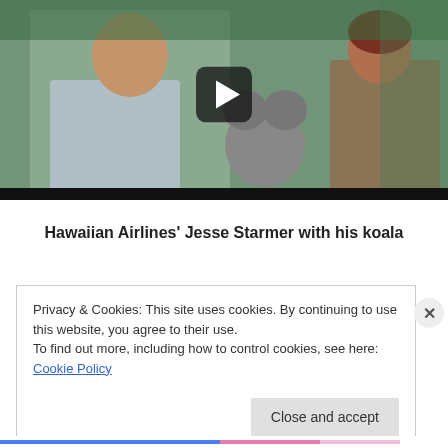[Figure (photo): Video thumbnail showing a man in a grey shirt holding a koala, with a zookeeper in khaki uniform beside him in a green outdoor setting. A play button overlay is visible in the center.]
Hawaiian Airlines' Jesse Starmer with his koala
Privacy & Cookies: This site uses cookies. By continuing to use this website, you agree to their use.
To find out more, including how to control cookies, see here: Cookie Policy
Close and accept